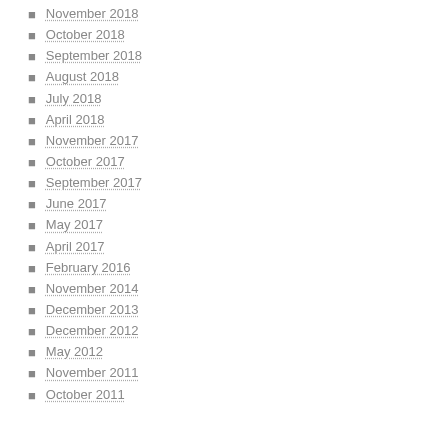November 2018
October 2018
September 2018
August 2018
July 2018
April 2018
November 2017
October 2017
September 2017
June 2017
May 2017
April 2017
February 2016
November 2014
December 2013
December 2012
May 2012
November 2011
October 2011